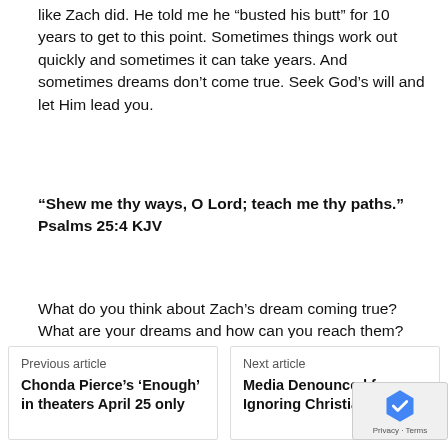like Zach did. He told me he “busted his butt” for 10 years to get to this point. Sometimes things work out quickly and sometimes it can take years. And sometimes dreams don’t come true. Seek God’s will and let Him lead you.
“Shew me thy ways, O Lord; teach me thy paths.” Psalms 25:4 KJV
What do you think about Zach’s dream coming true? What are your dreams and how can you reach them? Will you let the Lord lead you? Let me know your thoughts.
Previous article
Chonda Pierce’s ‘Enough’ in theaters April 25 only
Next article
Media Denounced for Ignoring Christian Ge…